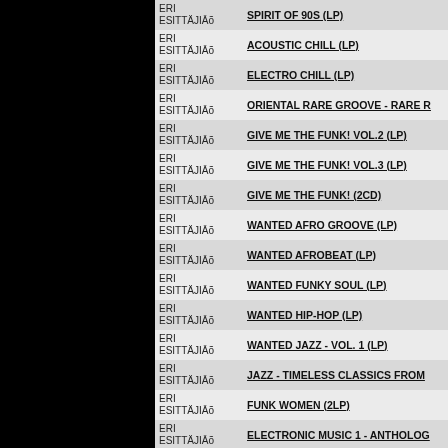| Artist | Title |
| --- | --- |
| ERI ESITTÄJIÄ | SPIRIT OF 90S (LP) |
| ERI ESITTÄJIÄ | ACOUSTIC CHILL (LP) |
| ERI ESITTÄJIÄ | ELECTRO CHILL (LP) |
| ERI ESITTÄJIÄ | ORIENTAL RARE GROOVE - RARE R... |
| ERI ESITTÄJIÄ | GIVE ME THE FUNK! VOL.2 (LP) |
| ERI ESITTÄJIÄ | GIVE ME THE FUNK! VOL.3 (LP) |
| ERI ESITTÄJIÄ | GIVE ME THE FUNK! (2CD) |
| ERI ESITTÄJIÄ | WANTED AFRO GROOVE (LP) |
| ERI ESITTÄJIÄ | WANTED AFROBEAT (LP) |
| ERI ESITTÄJIÄ | WANTED FUNKY SOUL (LP) |
| ERI ESITTÄJIÄ | WANTED HIP-HOP (LP) |
| ERI ESITTÄJIÄ | WANTED JAZZ - VOL. 1 (LP) |
| ERI ESITTÄJIÄ | JAZZ - TIMELESS CLASSICS FROM... |
| ERI ESITTÄJIÄ | FUNK WOMEN (2LP) |
| ERI ESITTÄJIÄ | ELECTRONIC MUSIC 1 - ANTHOLOG... |
| ERI ESITTÄJIÄ | ELECTRONIC MUSIC 2 - ANTHOLOG... |
| ERI ESITTÄJIÄ | ELECTRONIC MUSIC 3 - ANTHOLOG... |
| ERI ESITTÄJIÄ | ELECTRONIC MUSIC 4 - ANTHOLOG... |
| ERI ESITTÄJIÄ | ELECTRONIC MUSIC 5 - ANTHOLOG... |